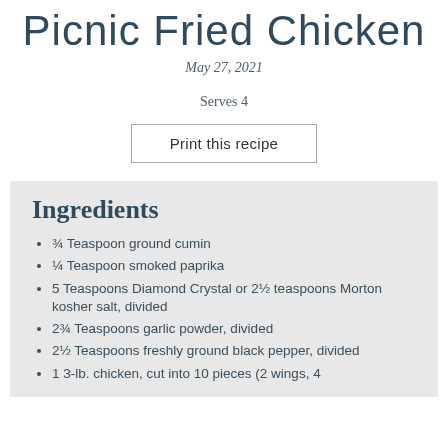Picnic Fried Chicken
May 27, 2021
Serves 4
Print this recipe
Ingredients
¾ Teaspoon ground cumin
¼ Teaspoon smoked paprika
5 Teaspoons Diamond Crystal or 2½ teaspoons Morton kosher salt, divided
2¾ Teaspoons garlic powder, divided
2½ Teaspoons freshly ground black pepper, divided
1 3-lb. chicken, cut into 10 pieces (2 wings, 4